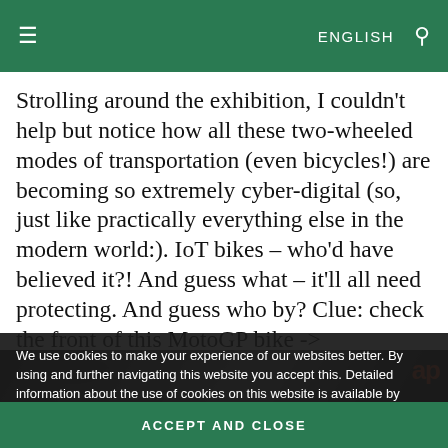≡  ENGLISH  🔍
Strolling around the exhibition, I couldn't help but notice how all these two-wheeled modes of transportation (even bicycles!) are becoming so extremely cyber-digital (so, just like practically everything else in the modern world:). IoT bikes – who'd have believed it?! And guess what – it'll all need protecting. And guess who by? Clue: check the front of this MotoGP bike ->
[Figure (photo): Partially visible photo of a MotoGP bike at an exhibition, with an 'ap' logo visible in the corner]
We use cookies to make your experience of our websites better. By using and further navigating this website you accept this. Detailed information about the use of cookies on this website is available by clicking on more information.
ACCEPT AND CLOSE